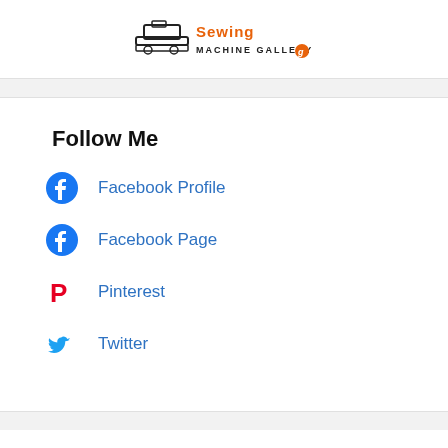[Figure (logo): Sewing Machine Gallery logo with sewing machine icon and orange brand text]
Follow Me
Facebook Profile
Facebook Page
Pinterest
Twitter